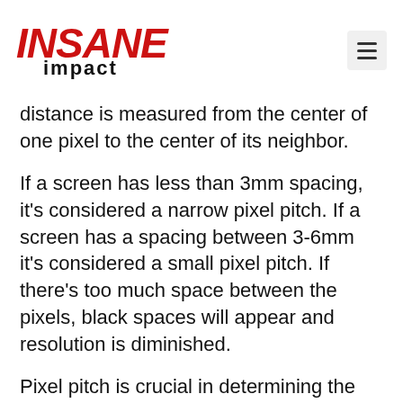INSANE impact
distance is measured from the center of one pixel to the center of its neighbor.
If a screen has less than 3mm spacing, it’s considered a narrow pixel pitch. If a screen has a spacing between 3-6mm it’s considered a small pixel pitch. If there’s too much space between the pixels, black spaces will appear and resolution is diminished.
Pixel pitch is crucial in determining the minimum required viewing distance for the